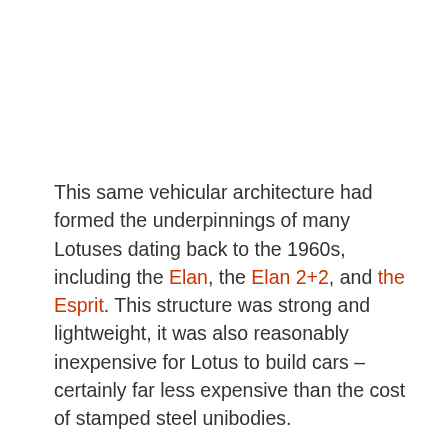This same vehicular architecture had formed the underpinnings of many Lotuses dating back to the 1960s, including the Elan, the Elan 2+2, and the Esprit. This structure was strong and lightweight, it was also reasonably inexpensive for Lotus to build cars – certainly far less expensive than the cost of stamped steel unibodies.
Toyota had contracted Lotus to help them develop the Supra, in particular they wanted Lotus to work on the car's handling, the Japanese automaker would became a major shareholder in Lotus during this time. As a